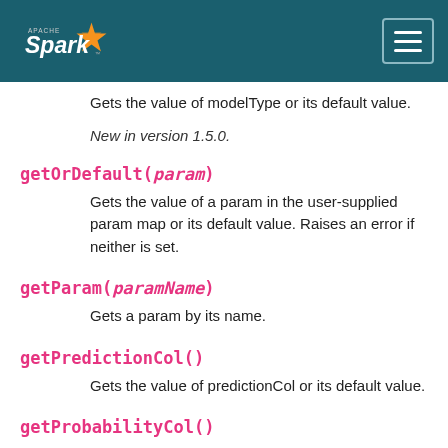Apache Spark
Gets the value of modelType or its default value.
New in version 1.5.0.
getOrDefault(param)
Gets the value of a param in the user-supplied param map or its default value. Raises an error if neither is set.
getParam(paramName)
Gets a param by its name.
getPredictionCol()
Gets the value of predictionCol or its default value.
getProbabilityCol()